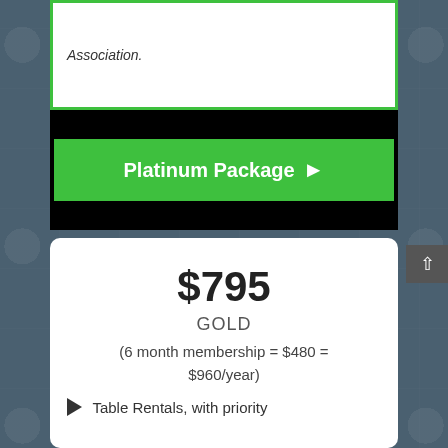Association.
[Figure (other): Green button labeled 'Platinum Package ▶' on a black background banner]
$795
GOLD
(6 month membership = $480 = $960/year)
Table Rentals, with priority